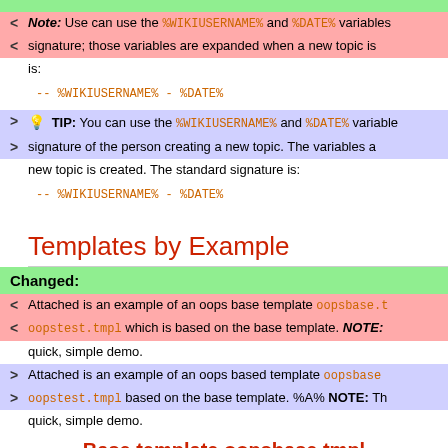Note: Use can use the %WIKIUSERNAME% and %DATE% variables signature; those variables are expanded when a new topic is is: -- %WIKIUSERNAME% - %DATE%
TIP: You can use the %WIKIUSERNAME% and %DATE% variables signature of the person creating a new topic. The variables a new topic is created. The standard signature is: -- %WIKIUSERNAME% - %DATE%
Templates by Example
Changed:
Attached is an example of an oops base template oopsbase.t oopstest.tmpl which is based on the base template. NOTE: quick, simple demo.
Attached is an example of an oops based template oopsbase oopstest.tmpl based on the base template. %A% NOTE: Th quick, simple demo.
Base template oopsbase.tmpl